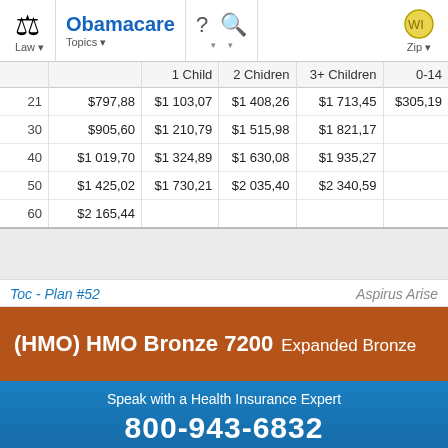[Figure (screenshot): Website navigation bar with Law icon, Obamacare Topics menu, help/search icons, and Zip dropdown with Wisconsin icon]
|  |  | 1 Child | 2 Children | 3+ Children | 0-14 |
| --- | --- | --- | --- | --- | --- |
| 21 | $797,88 | $1 103,07 | $1 408,26 | $1 713,45 | $305,19 |
| 30 | $905,60 | $1 210,79 | $1 515,98 | $1 821,17 |  |
| 40 | $1 019,70 | $1 324,89 | $1 630,08 | $1 935,27 |  |
| 50 | $1 425,02 | $1 730,21 | $2 035,40 | $2 340,59 |  |
| 60 | $2 165,44 |  |  |  |  |
Toc - Plan #52
Aspirus Arise
(HMO) HMO Bronze 7200 Expanded Bronze
Speak with a Health Insurance Expert
800-943-6832
Ads by +HealthNetwork